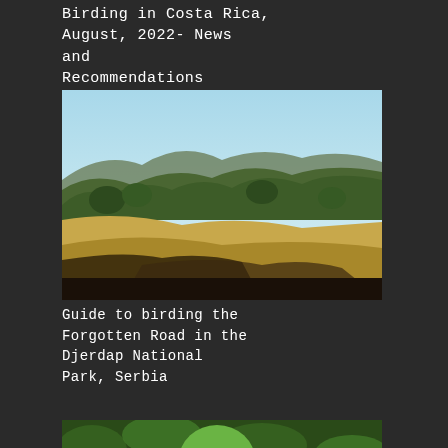Birding in Costa Rica, August, 2022- News and Recommendations
[Figure (photo): Landscape photo of rolling hills and mountains with golden fields and forested slopes under a clear blue sky]
Guide to birding the Forgotten Road in the Djerdap National Park, Serbia
[Figure (photo): Close-up photo of a green parrot with a red and pink beak among green foliage]